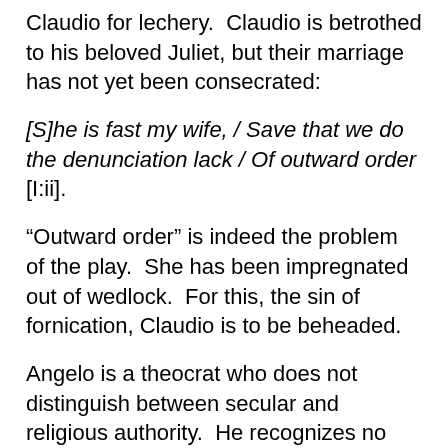Claudio for lechery.  Claudio is betrothed to his beloved Juliet, but their marriage has not yet been consecrated:
[S]he is fast my wife, / Save that we do the denunciation lack / Of outward order [I:ii].
“Outward order” is indeed the problem of the play.  She has been impregnated out of wedlock.  For this, the sin of fornication, Claudio is to be beheaded.
Angelo is a theocrat who does not distinguish between secular and religious authority.  He recognizes no nuance, no degree between